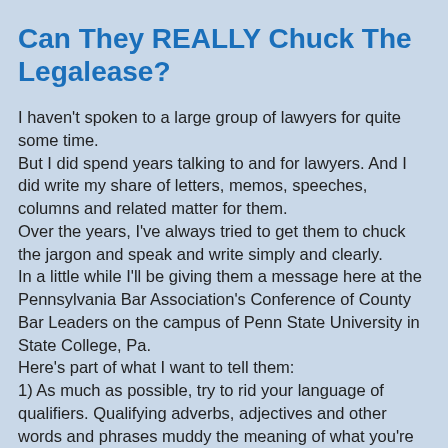Can They REALLY Chuck The Legalease?
I haven't spoken to a large group of lawyers for quite some time.
But I did spend years talking to and for lawyers. And I did write my share of letters, memos, speeches, columns and related matter for them.
Over the years, I've always tried to get them to chuck the jargon and speak and write simply and clearly.
In a little while I'll be giving them a message here at the Pennsylvania Bar Association's Conference of County Bar Leaders on the campus of Penn State University in State College, Pa.
Here's part of what I want to tell them:
1) As much as possible, try to rid your language of qualifiers. Qualifying adverbs, adjectives and other words and phrases muddy the meaning of what you're trying to say.
2) Be specific. Wherever and whenever you can, replace words like "often" and "sometimes" and "maybe" with more